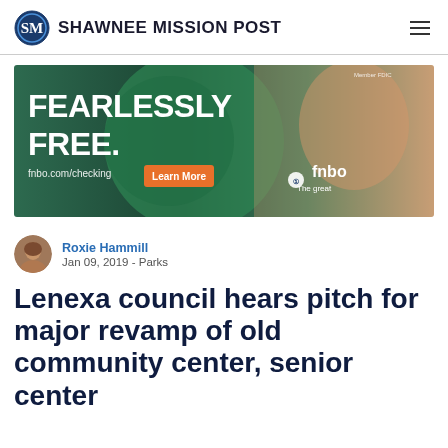SHAWNEE MISSION POST
[Figure (photo): FNBO bank advertisement with text 'FEARLESSLY FREE. fnbo.com/checking' and a woman smiling, with 'Learn More' button and fnbo logo with tagline 'The great big small bank']
Roxie Hammill
Jan 09, 2019 - Parks
Lenexa council hears pitch for major revamp of old community center, senior center